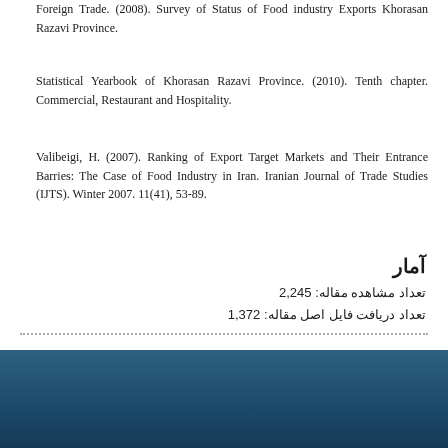Foreign Trade. (2008). Survey of Status of Food industry Exports Khorasan Razavi Province.
Statistical Yearbook of Khorasan Razavi Province. (2010). Tenth chapter. Commercial, Restaurant and Hospitality.
Valibeigi, H. (2007). Ranking of Export Target Markets and Their Entrance Barries: The Case of Food Industry in Iran. Iranian Journal of Trade Studies (IJTS). Winter 2007. 11(41), 53-89.
آمار
تعداد مشاهده مقاله: 2,245
تعداد دریافت فایل اصل مقاله: 1,372
Map
sinaweb .